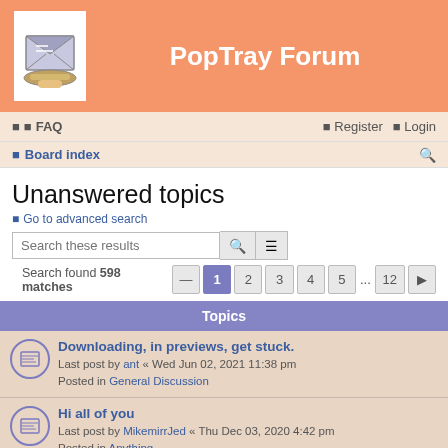PopTray Forum
FAQ  Register  Login
Board index
Unanswered topics
Go to advanced search
Search these results
Search found 598 matches  1 2 3 4 5 ... 12
| Topics |
| --- |
| Downloading, in previews, get stuck. | Last post by ant « Wed Jun 02, 2021 11:38 pm
Posted in General Discussion |
| Hi all of you | Last post by MikemirrJed « Thu Dec 03, 2020 4:42 pm
Posted in Anything |
| viewed and unviewed ? | Last post by sportman13 « Tue Jul 14, 2020 9:26 pm
Posted in General Discussion |
| Hi All! PopTray & K9 : Why Marking *[Spam]* – Did Not Work |  |